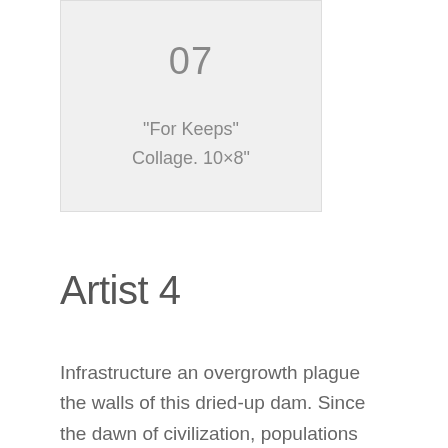[Figure (other): Gray placeholder box for artwork number 07, titled 'For Keeps', Collage, 10x8 inches]
07
"For Keeps"
Collage. 10×8"
Artist 4
Infrastructure an overgrowth plague the walls of this dried-up dam. Since the dawn of civilization, populations have